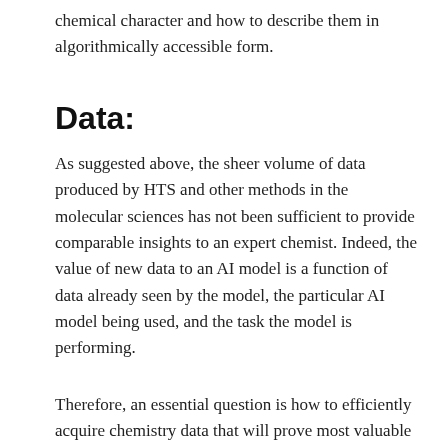chemical character and how to describe them in algorithmically accessible form.
Data:
As suggested above, the sheer volume of data produced by HTS and other methods in the molecular sciences has not been sufficient to provide comparable insights to an expert chemist. Indeed, the value of new data to an AI model is a function of data already seen by the model, the particular AI model being used, and the task the model is performing.
Therefore, an essential question is how to efficiently acquire chemistry data that will prove most valuable to specific AI models and tasks. Existing data in chemistry, like many fields, is sparse, noisy